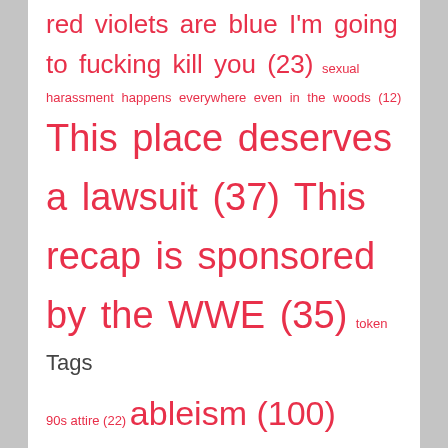red violets are blue I'm going to fucking kill you (23) sexual harassment happens everywhere even in the woods (12) This place deserves a lawsuit (37) This recap is sponsored by the WWE (35) token fat friend (6) too cool for school (5) Well that escalated quickly (103) World of fail (20)
Tags
90s attire (22) ableism (100) ACTUAL